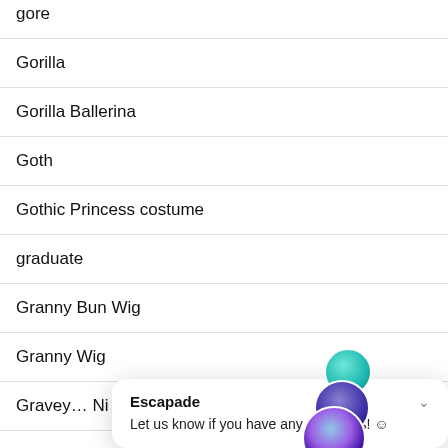gore
Gorilla
Gorilla Ballerina
Goth
Gothic Princess costume
graduate
Granny Bun Wig
Granny Wig
Graveyar...Ni
[Figure (other): Chat widget overlay with avatar stack showing three overlapping circular avatars (teal, purple, multi-color) and a chat bubble from 'Escapade' saying 'Let us know if you have any questions! 😊']